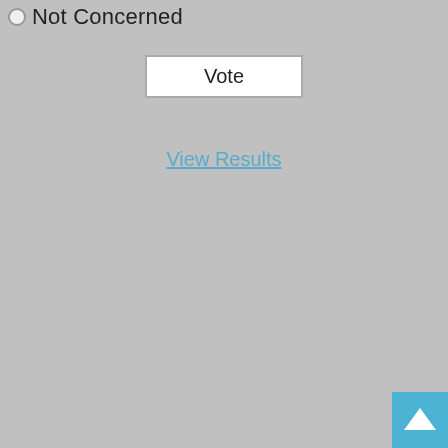Not Concerned
Vote
View Results